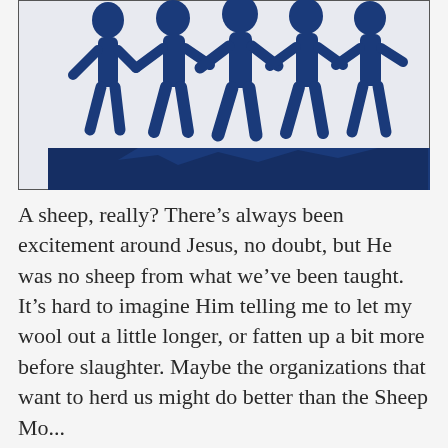[Figure (illustration): Illustration of several dark blue stick figures walking together, arms linked, on a blue cliff or platform edge against a light background, inside a bordered frame.]
A sheep, really? There's always been excitement around Jesus, no doubt, but He was no sheep from what we've been taught. It's hard to imagine Him telling me to let my wool out a little longer, or fatten up a bit more before slaughter. Maybe the organizations that want to herd us might do better than the Sheep Mo...